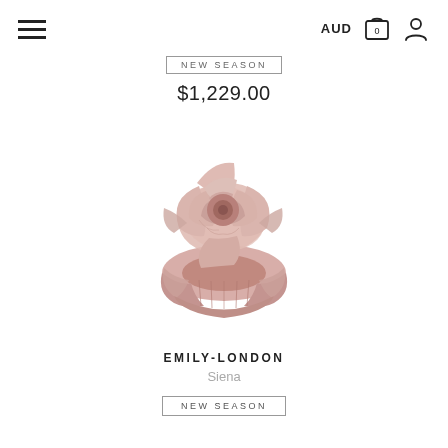AUD
NEW SEASON
$1,229.00
[Figure (photo): A dusty rose/blush pink fabric ring with a large rose flower on top, photographed on white background. The ring band appears to be made of pleated satin fabric.]
EMILY-LONDON
Siena
NEW SEASON